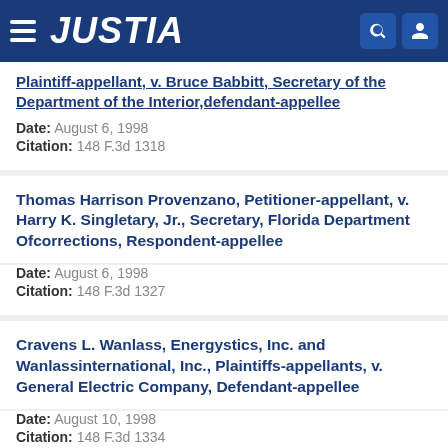JUSTIA
Plaintiff-appellant, v. Bruce Babbitt, Secretary of the Department of the Interior, defendant-appellee
Date: August 6, 1998
Citation: 148 F.3d 1318
Thomas Harrison Provenzano, Petitioner-appellant, v. Harry K. Singletary, Jr., Secretary, Florida Department Ofcorrections, Respondent-appellee
Date: August 6, 1998
Citation: 148 F.3d 1327
Cravens L. Wanlass, Energystics, Inc. and Wanlassinternational, Inc., Plaintiffs-appellants, v. General Electric Company, Defendant-appellee
Date: August 10, 1998
Citation: 148 F.3d 1334